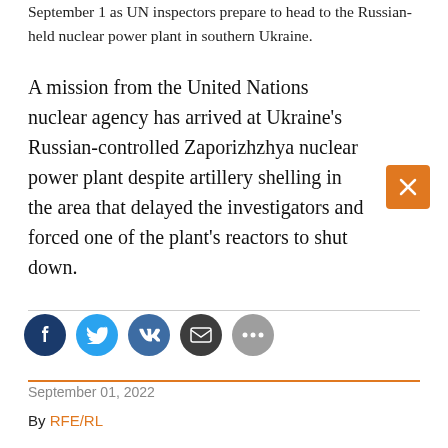September 1 as UN inspectors prepare to head to the Russian-held nuclear power plant in southern Ukraine.
A mission from the United Nations nuclear agency has arrived at Ukraine's Russian-controlled Zaporizhzhya nuclear power plant despite artillery shelling in the area that delayed the investigators and forced one of the plant's reactors to shut down.
September 01, 2022
By RFE/RL